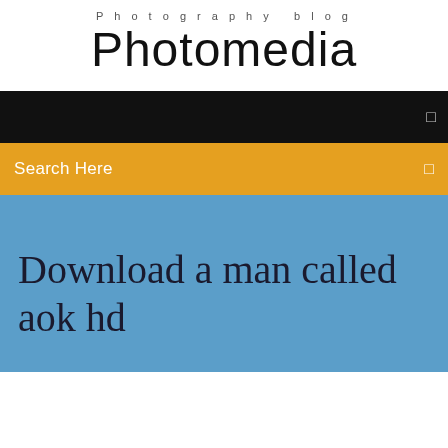Photography blog
Photomedia
Search Here
Download a man called aok hd